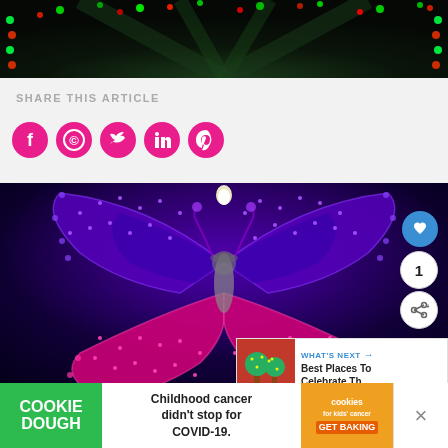[Figure (photo): Christmas lights tunnel photo showing green and red lights along a pathway at night]
SHARE THIS ARTICLE
[Figure (infographic): Social share icons: Facebook, WhatsApp, Twitter, LinkedIn, Pinterest - all in pink/magenta circular buttons]
[Figure (photo): Large illuminated butterfly sculpture made of purple and pink LED lights at night, with a person standing in front of it. A heart/like button (blue circle), count badge showing 1, and share button visible on the right side. A 'WHAT'S NEXT' panel showing 'Best Places To Celebrate Th...' in bottom right corner.]
[Figure (infographic): Advertisement banner: Cookie Dough (green) | 'Childhood cancer didn't stop for COVID-19.' | cookies for kids cancer GET BAKING logo | close X button]